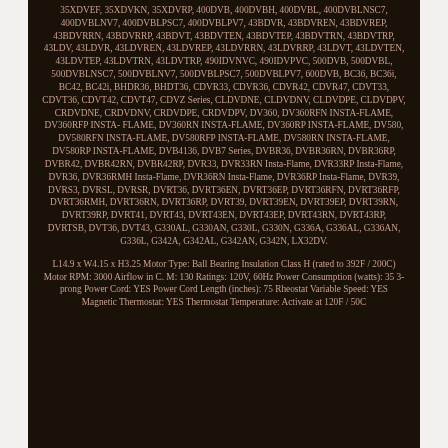35XDVEF, 35XDVKN, 35XDVRP, 400DVB, 400DVBH, 400DVBL, 400DVBLNSC7, 400DVBLNV7, 400DVBLPSC7, 400DVBLPV7, 43BDVR, 43BDVREN, 43BDVREP, 43BDVRRN, 43BDVRRP, 43BDVT, 43BDVTEN, 43BDVTEP, 43BDVTRN, 43BDVTRP, 43LDV, 43LDVR, 43LDVREN, 43LDVREP, 43LDVRRN, 43LDVRRP, 43LDVT, 43LDVTEN, 43LDVTEP, 43LDVTRN, 43LDVTRP, 490IDVNVC, 490IDVPVC, 500DVB, 500DVBL, 500DVBLNSC7, 500DVBLNV7, 500DVBLPSC7, 500DVBLPV7, 600DVB, BC36, BC36i, BC42, BC42i, BHDR36, BHDT36, CDVR33, CDVR36, CDVR42, CDVR47, CDVT33, CDVT36, CDVT42, CDVT47, CDVZ Series, CLDVDNE, CLDVDNV, CLDVDPE, CLDVDPV, CRDVDNE, CRDVDNV, CRDVDPE, CRDVDPV, DV360, DV360RFN INSTA-FLAME, DV360RFP INSTA-FLAME, DV360RN INSTA-FLAME, DV360RP INSTA-FLAME, DV580, DV580RFN INSTA-FLAME, DV580RFP INSTA-FLAME, DV580RN INSTA-FLAME, DV580RP INSTA-FLAME, DVB4136, DVB7 Series, DVBR36, DVBR36RN, DVBR36RP, DVBR42, DVBR42RN, DVBR42RP, DVR33, DVR33RN Insta-Flame, DVR33RP Insta-Flame, DVR36, DVR36RMH Insta-Flame, DVR36RN Insta-Flame, DVR36RP Insta-Flame, DVR39, DVRS3, DVRSL, DVRSR, DVRT36, DVRT36EN, DVRT36EP, DVRT36RFN, DVRT36RFP, DVRT36RMH, DVRT36RN, DVRT36RP, DVRT39, DVRT39EN, DVRT39EP, DVRT39RN, DVRT39RP, DVRT41, DVRT43, DVRT43EN, DVRT43EP, DVRT43RN, DVRT43RP, DVRTSB, DVT36, DVT43, G330AL, G330AN, G330L, G330N, G336A, G336AL, G336AN, G336L, G342A, G342AL, G342AN, G342N, LX32DV.
L14.9 x W4.15 x H3.25 Motor Type: Ball Bearing Insulation Class H (rated to 392F / 200C) Motor RPM: 3000 Airflow in C. M: 130 Ratings: 120V, 60Hz Power Consumption (watts): 35 3-prong Power Cord: YES Power Cord Length (inches): 75 Rheostat Variable Speed: YES Magnetic Thermostat: YES Thermostat Temperature: Activate at 120F / 50C